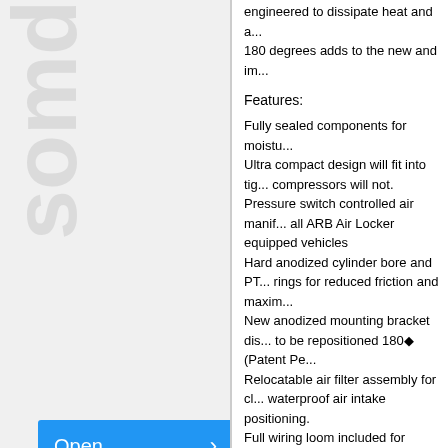engineered to dissipate heat and a... 180 degrees adds to the new and im...
Features:
Fully sealed components for moistu...
Ultra compact design will fit into tig... compressors will not.
Pressure switch controlled air manif... all ARB Air Locker equipped vehicles
Hard anodized cylinder bore and PT... rings for reduced friction and maxim...
New anodized mounting bracket dis... to be repositioned 180◆ (Patent Pe...
Relocatable air filter assembly for cl... waterproof air intake positioning.
Full wiring loom included for simplifie... connectivity to Air Locker control sol...
All rotating components 100% ball b... low heat and quiet operation.
Low current draw means it will run o... 12V and 24V vehicles.
Kit Includes:
Fully assembled and tested 12V air...
Complete wiring loom w/ Air Locker...
OEM quality compressor isolating su...
Air Locker supply rated pressure sw...
Relocatable air filter with dual densi...
Mounting hardware with reinforcing h...
Comprehensive photo illustrated ins...
Keywords:  ARB  Compact  OnBoard  Air  Kit
[Figure (other): Blue Open button with right arrow in left sidebar]
Choosing the Right Mud Tire - A No Nonsense breakdown
Least Popular Tires
Tire Terminology
Wheel Terminology
P-Metric Tire Sizes Conversion to Inches
Cool 4x4 Related Products - What's New and What's Cool